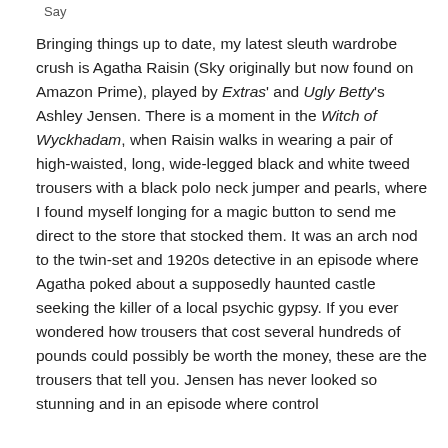Say
Bringing things up to date, my latest sleuth wardrobe crush is Agatha Raisin (Sky originally but now found on Amazon Prime), played by Extras' and Ugly Betty's Ashley Jensen. There is a moment in the Witch of Wyckhadam, when Raisin walks in wearing a pair of high-waisted, long, wide-legged black and white tweed trousers with a black polo neck jumper and pearls, where I found myself longing for a magic button to send me direct to the store that stocked them. It was an arch nod to the twin-set and 1920s detective in an episode where Agatha poked about a supposedly haunted castle seeking the killer of a local psychic gypsy. If you ever wondered how trousers that cost several hundreds of pounds could possibly be worth the money, these are the trousers that tell you. Jensen has never looked so stunning and in an episode where control